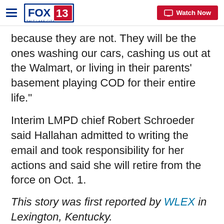FOX 13 Salt Lake City | Watch Now
because they are not. They will be the ones washing our cars, cashing us out at the Walmart, or living in their parents' basement playing COD for their entire life."
Interim LMPD chief Robert Schroeder said Hallahan admitted to writing the email and took responsibility for her actions and said she will retire from the force on Oct. 1.
This story was first reported by WLEX in Lexington, Kentucky.
Copyright 2020 Scripps Media, Inc. All rights reserved. This material may not be published, broadcast, rewritten, or redistributed.